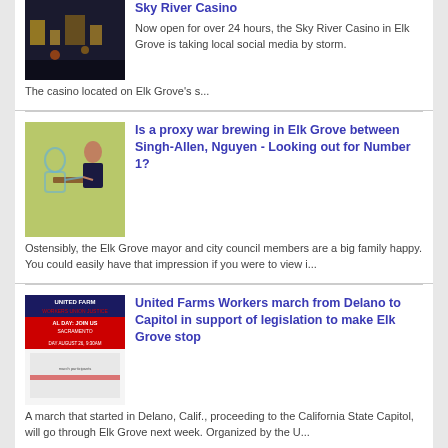[Figure (photo): Casino interior thumbnail image, dark background]
Sky River Casino
Now open for over 24 hours, the Sky River Casino in Elk Grove is taking local social media by storm. The casino located on Elk Grove's s...
[Figure (illustration): Illustration of two people at a table, one appears to be arm wrestling, green background]
Is a proxy war brewing in Elk Grove between Singh-Allen, Nguyen - Looking out for Number 1?
Ostensibly, the Elk Grove mayor and city council members are a big family happy. You could easily have that impression if you were to view i...
[Figure (photo): United Farm Workers march flyer - Sacramento rally, August 26, 9:30am]
United Farms Workers march from Delano to Capitol in support of legislation to make Elk Grove stop
A march that started in Delano, Calif., proceeding to the California State Capitol, will go through Elk Grove next week.  Organized by the U...
[Figure (photo): Hand placing vote ballot, American flags background]
Candidates set for Elk Grove Unified, Cosumnes Community Services District